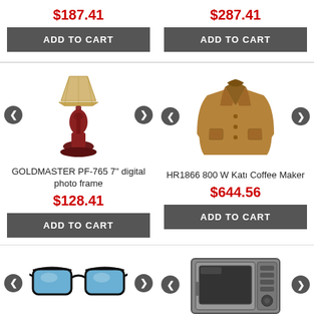$187.41
ADD TO CART
$287.41
ADD TO CART
[Figure (photo): Table lamp with beige shade and dark red base]
GOLDMASTER PF-765 7'' digital photo frame
$128.41
ADD TO CART
[Figure (photo): Tan/camel colored men's coat jacket]
HR1866 800 W Katı Coffee Maker
$644.56
ADD TO CART
[Figure (photo): Black sunglasses with blue mirrored lenses]
[Figure (photo): Stainless steel microwave oven]